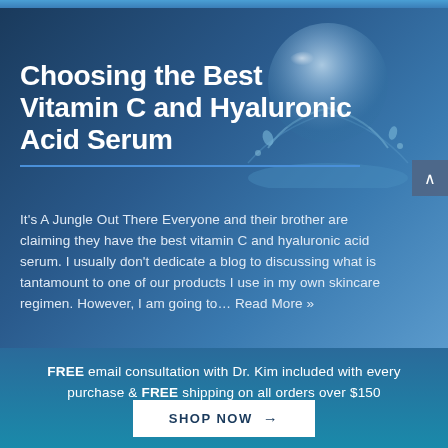[Figure (photo): Hero image with water droplet/bubble and blue gradient background representing skincare serum]
Choosing the Best Vitamin C and Hyaluronic Acid Serum
It’s A Jungle Out There Everyone and their brother are claiming they have the best vitamin C and hyaluronic acid serum. I usually don’t dedicate a blog to discussing what is tantamount to one of our products I use in my own skincare regimen. However, I am going to… Read More »
FREE email consultation with Dr. Kim included with every purchase & FREE shipping on all orders over $150
SHOP NOW →